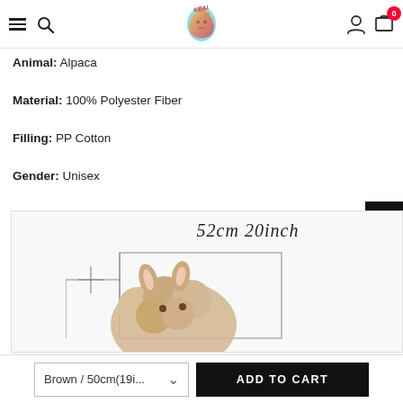KEAI art — navigation header with menu, search, account, and cart (0 items)
Animal: Alpaca
Material: 100% Polyester Fiber
Filling: PP Cotton
Gender: Unisex
[Figure (photo): Product size diagram showing a stuffed alpaca plush toy with measurement annotation '52cm 20inch' and rectangular measurement lines overlay]
Brown / 50cm(19i... ∨   ADD TO CART